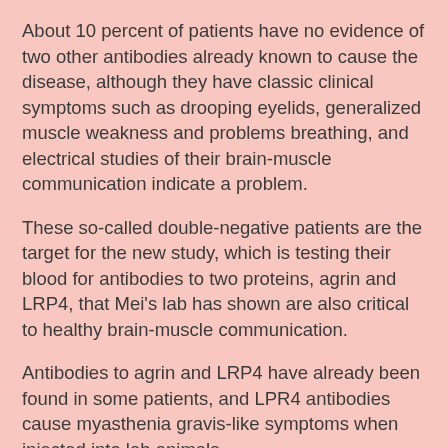About 10 percent of patients have no evidence of two other antibodies already known to cause the disease, although they have classic clinical symptoms such as drooping eyelids, generalized muscle weakness and problems breathing, and electrical studies of their brain-muscle communication indicate a problem.
These so-called double-negative patients are the target for the new study, which is testing their blood for antibodies to two proteins, agrin and LRP4, that Mei's lab has shown are also critical to healthy brain-muscle communication.
Antibodies to agrin and LRP4 have already been found in some patients, and LPR4 antibodies cause myasthenia gravis-like symptoms when injected into lab animals.
"We want to know whether these patients have any unique symptoms so we can diagnose them early then confirm their diagnosis with a blood test," said Mei, Georgia Research Alliance Eminent Scholar in Neuroscience and principal investigator on the new $3 million National Institutes of